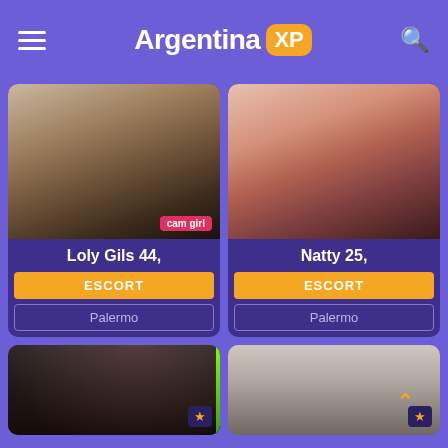Argentina XP
[Figure (photo): Photo of Loly Gils with cam girl badge]
Loly Gils 44,
ESCORT
Palermo
[Figure (photo): Photo of Natty]
Natty 25,
ESCORT
Palermo
[Figure (photo): Partial photo bottom left card with star badge]
[Figure (photo): Partial photo bottom right card with star badge and chevron]